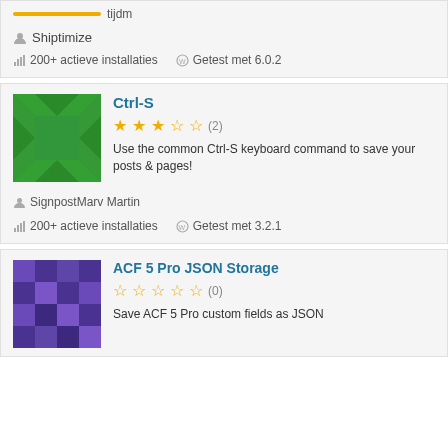tijdm
Shiptimize
200+ actieve installaties
Getest met 6.0.2
Ctrl-S
2 stars rating (2)
Use the common Ctrl-S keyboard command to save your posts & pages!
SignpostMarv Martin
200+ actieve installaties
Getest met 3.2.1
ACF 5 Pro JSON Storage
0 stars rating (0)
Save ACF 5 Pro custom fields as JSON